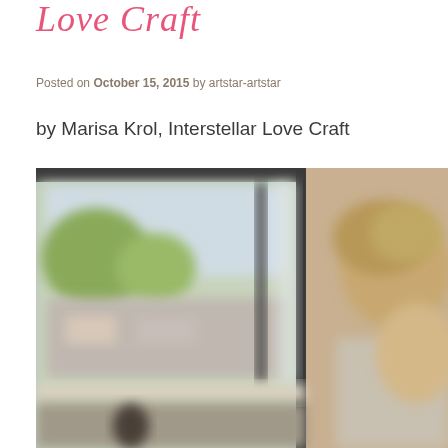Love Craft
Posted on October 15, 2015 by artstar-artstar
by Marisa Krol, Interstellar Love Craft
[Figure (photo): Blurred photo of a person sitting near a window with an outdoor street scene visible through the glass]